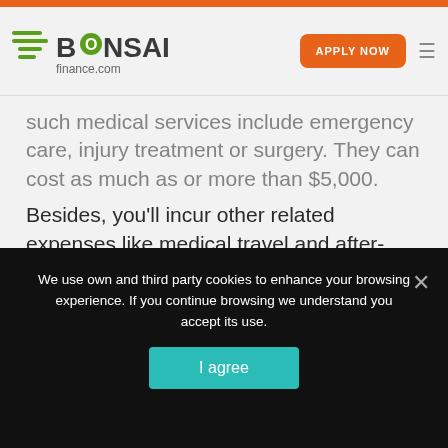BONSAI finance.com — APPLY NOW
such medical services include emergency care, injury treatment or surgery. They can cost as much as or more than $5,000.
Besides, you'll incur other related expenses like medical travel and after-care costs. That's apart from the loss of income since you can't work when sick.
We use own and third party cookies to enhance your browsing experience. If you continue browsing we understand you accept its use.
I agree